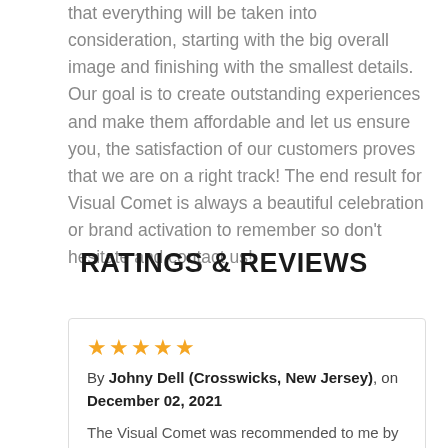that everything will be taken into consideration, starting with the big overall image and finishing with the smallest details. Our goal is to create outstanding experiences and make them affordable and let us ensure you, the satisfaction of our customers proves that we are on a right track! The end result for Visual Comet is always a beautiful celebration or brand activation to remember so don't hesitate and contact us!
RATINGS & REVIEWS
★★★★★ By Johny Dell (Crosswicks, New Jersey), on December 02, 2021 The Visual Comet was recommended to me by